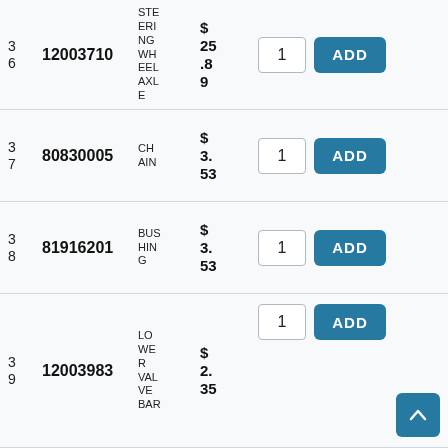| # | Part Number | Description | Price | Qty | Action |
| --- | --- | --- | --- | --- | --- |
| 3
6 | 12003710 | STEERING WHEEL AXLE | $25.89 | 1 | ADD |
| 3
7 | 80830005 | CHAIN | $3.53 | 1 | ADD |
| 3
8 | 81916201 | BUSHING | $3.53 | 1 | ADD |
| 3
9 | 12003983 | LOWER VALVE BAR | $2.35 | 1 | ADD |